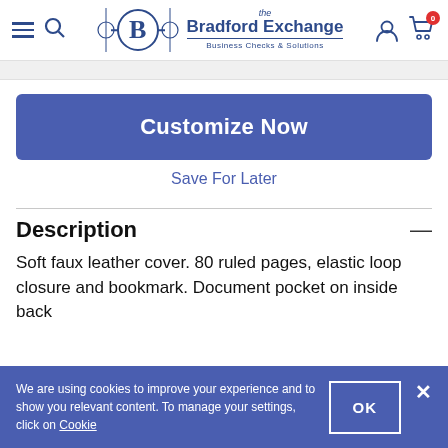The Bradford Exchange — Business Checks & Solutions
Customize Now
Save For Later
Description
Soft faux leather cover. 80 ruled pages, elastic loop closure and bookmark. Document pocket on inside back
We are using cookies to improve your experience and to show you relevant content. To manage your settings, click on Cookie